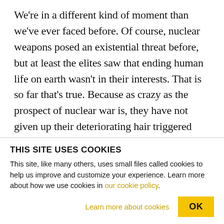We're in a different kind of moment than we've ever faced before. Of course, nuclear weapons posed an existential threat before, but at least the elites saw that ending human life on earth wasn't in their interests. That is so far that's true. Because as crazy as the prospect of nuclear war is, they have not given up their deteriorating hair triggered nuclear arsenals and they actually contemplate the use of localized nuclear weapons. As you know, first Obama planned for a new wave of nuclear weapons, and now Trump is spending billions expanding America's nuclear
THIS SITE USES COOKIES
This site, like many others, uses small files called cookies to help us improve and customize your experience. Learn more about how we use cookies in our cookie policy.
Learn more about cookies
OK